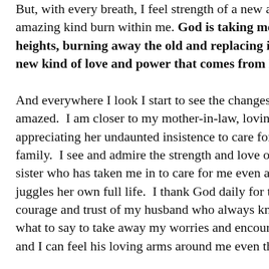But, with every breath, I feel strength of a new and amazing kind burn within me. God is taking me to new heights, burning away the old and replacing it with a new kind of love and power that comes from Him.

And everywhere I look I start to see the changes and am amazed. I am closer to my mother-in-law, loving and appreciating her undaunted insistence to care for her family. I see and admire the strength and love of my sister who has taken me in to care for me even as she juggles her own full life. I thank God daily for the courage and trust of my husband who always knows just what to say to take away my worries and encourage me and I can feel his loving arms around me even though we
Easter And Good Friday
Family
Fathers
Fear
Fellowship
Forgiveness
Freedom
Friends
Habits
Health
Holidays
Hospitals
Idols
Illness
Love
Marriage
Military
Mothers
Nature
Prayer